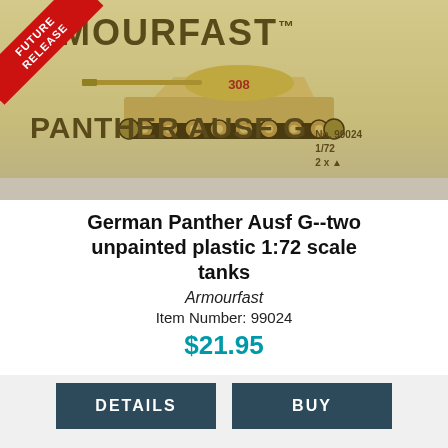[Figure (photo): Armourfast product box image showing a PANTHER AUSF G tank model kit. A diagonal red 'FUTURE RELEASE' banner is in the top-left corner. The box shows a tan/sand colored Panther tank (numbered 308) on a tan background. Text reads 'ARMOURFAST' at top, 'PANTHER AUSF G' in large brown letters at bottom, with 'No. 99024 1/72 2x' in smaller text.]
German Panther Ausf G--two unpainted plastic 1:72 scale tanks
Armourfast
Item Number: 99024
$21.95
DETAILS
BUY